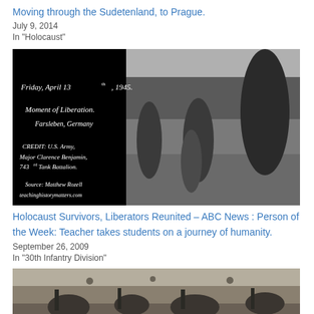Moving through the Sudetenland, to Prague.
July 9, 2014
In "Holocaust"
[Figure (photo): Black and white historical photo split into two panels. Left panel has black background with white italic text: Friday, April 13th, 1945. Moment of Liberation. Farsleben, Germany. CREDIT: U.S. Army, Major Clarence Benjamin, 743rd Tank Battalion. Source: Matthew Rozell teachinghistorymatters.com. Right panel shows women and a child running outdoors near a train, appearing joyful.]
Holocaust Survivors, Liberators Reunited – ABC News : Person of the Week: Teacher takes students on a journey of humanity.
September 26, 2009
In "30th Infantry Division"
[Figure (photo): Black and white historical photo showing soldiers with equipment in a field.]